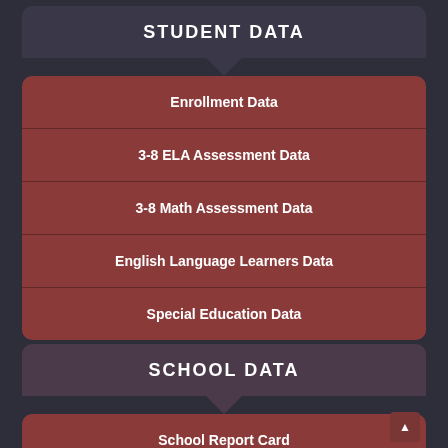STUDENT DATA
Enrollment Data
3-8 ELA Assessment Data
3-8 Math Assessment Data
English Language Learners Data
Special Education Data
SCHOOL DATA
School Report Card
High School Graduation Rate